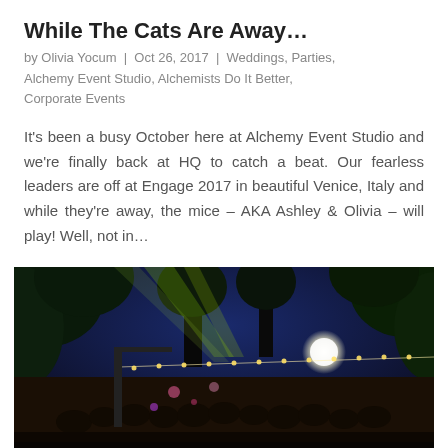While The Cats Are Away…
by Olivia Yocum | Oct 26, 2017 | Weddings, Parties, Alchemy Event Studio, Alchemists Do It Better, Corporate Events
It's been a busy October here at Alchemy Event Studio and we're finally back at HQ to catch a beat. Our fearless leaders are off at Engage 2017 in beautiful Venice, Italy and while they're away, the mice – AKA Ashley & Olivia – will play! Well, not in…
[Figure (photo): Outdoor evening event with string lights and crowd under illuminated trees with dramatic light beams in dark blue sky]